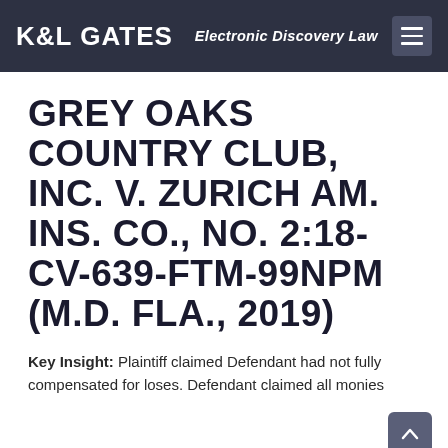K&L GATES  Electronic Discovery Law
GREY OAKS COUNTRY CLUB, INC. V. ZURICH AM. INS. CO., NO. 2:18-CV-639-FTM-99NPM (M.D. FLA., 2019)
Key Insight: Plaintiff claimed Defendant had not fully compensated for loses. Defendant claimed all monies